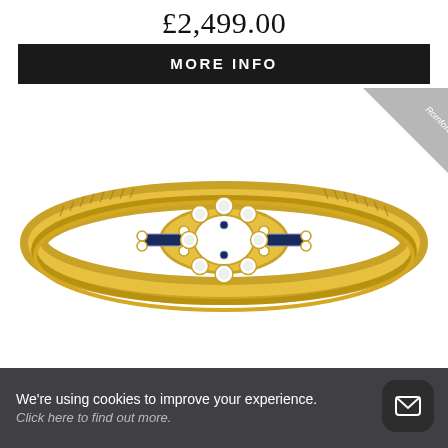£2,499.00
MORE INFO
[Figure (photo): Gold bracelet with diamond and sapphire floral centerpiece, featuring a herringbone/rope-textured gold band. The centerpiece has round brilliant diamonds surrounding an oval opening, flanked by blue sapphire baguettes. There is a 'Romford' location ribbon in the top right corner.]
We're using cookies to improve your experience.
Click here to find out more.